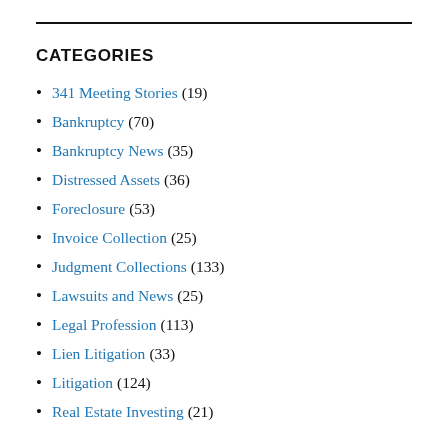CATEGORIES
341 Meeting Stories (19)
Bankruptcy (70)
Bankruptcy News (35)
Distressed Assets (36)
Foreclosure (53)
Invoice Collection (25)
Judgment Collections (133)
Lawsuits and News (25)
Legal Profession (113)
Lien Litigation (33)
Litigation (124)
Real Estate Investing (21)